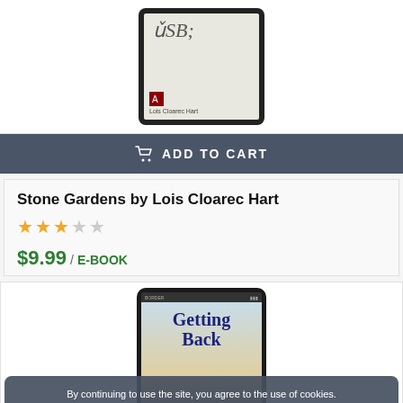[Figure (illustration): E-reader device showing book cover with cursive text and author name 'Lois Cloarec Hart']
ADD TO CART
Stone Gardens by Lois Cloarec Hart
$9.99 / E-BOOK
[Figure (illustration): E-reader device showing book cover 'Getting Back' with blue sky and city skyline, author Cindy Rizzo]
By continuing to use the site, you agree to the use of cookies.
more information
ACCEPT